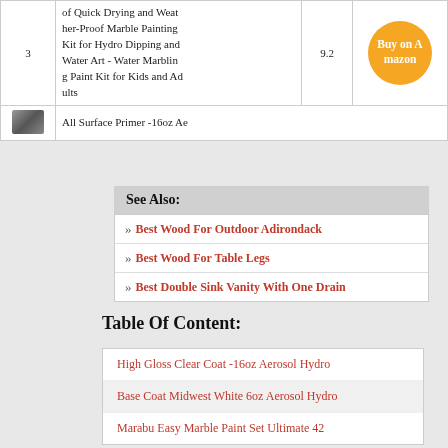| # | Name | Score | Action |
| --- | --- | --- | --- |
| 3 | of Quick Drying and Weather-Proof Marble Painting Kit for Hydro Dipping and Water Art - Water Marbling Paint Kit for Kids and Adults | 9.2 | Buy on Amazon |
|  | All Surface Primer -16oz Ae |  |  |
» Best Wood For Outdoor Adirondack
» Best Wood For Table Legs
» Best Double Sink Vanity With One Drain
Table Of Content:
High Gloss Clear Coat -16oz Aerosol Hydro
Base Coat Midwest White 6oz Aerosol Hydro
Marabu Easy Marble Paint Set Ultimate 42